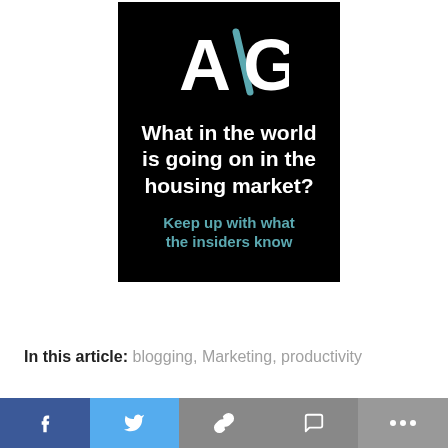[Figure (logo): AG logo and housing market advertisement on black background with teal accents. Shows 'A\G' logo in large white and teal text, followed by headline 'What in the world is going on in the housing market?' in bold white text, and subtext 'Keep up with what the insiders know' in teal.]
In this article: blogging, Marketing, productivity